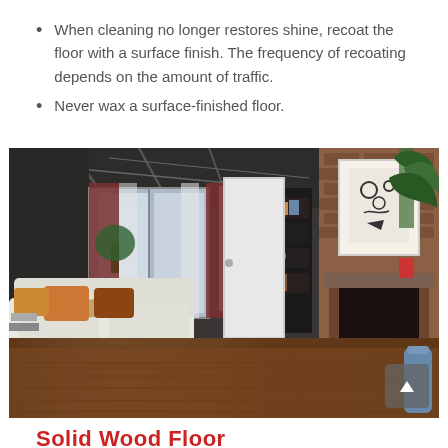When cleaning no longer restores shine, recoat the floor with a surface finish. The frequency of recoating depends on the amount of traffic.
Never wax a surface-finished floor.
[Figure (photo): Interior living room photo showing a hardwood floor, white sofa with decorative pillows, coffee table with zebra-print rug, large windows with curtains, bookshelf, brick fireplace with artwork above it, and tropical plant in corner.]
Solid Wood Floor